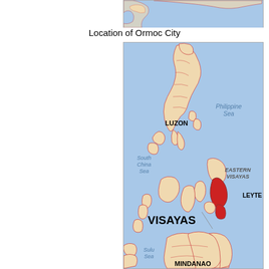[Figure (map): Partial map of the Philippines showing top portion, cropped at the top of the page]
Location of Ormoc City
[Figure (map): Map of the Philippines highlighting Eastern Visayas region, with Leyte island shown in red. Labels include: Philippine Sea, South China Sea, LUZON, EASTERN VISAYAS, LEYTE, VISAYAS, Sulu Sea, MINDANAO]